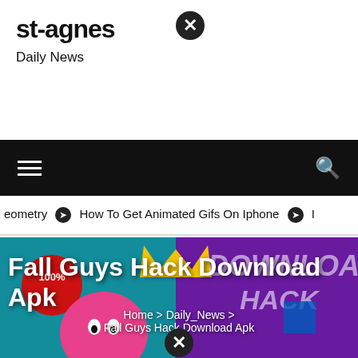st-agnes
Daily News
[Figure (screenshot): Navigation bar with hamburger menu icon on left and search icon on right, black background]
eometry ❯ How To Get Animated Gifs On Iphone ❯ I
[Figure (photo): Fall Guys game character (pink blob with crown) promotional image with colorful purple/teal background and DOWNLOAD HACK text overlay]
Fall Guys Hack Download Apk
Home > Daily_News > Fall Guys Hack Download Apk